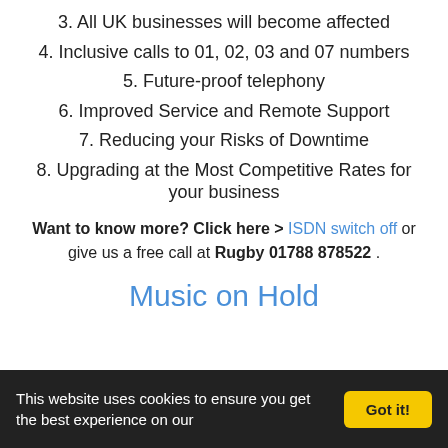3. All UK businesses will become affected
4. Inclusive calls to 01, 02, 03 and 07 numbers
5. Future-proof telephony
6. Improved Service and Remote Support
7. Reducing your Risks of Downtime
8. Upgrading at the Most Competitive Rates for your business
Want to know more? Click here > ISDN switch off or give us a free call at Rugby 01788 878522 .
Music on Hold
This website uses cookies to ensure you get the best experience on our